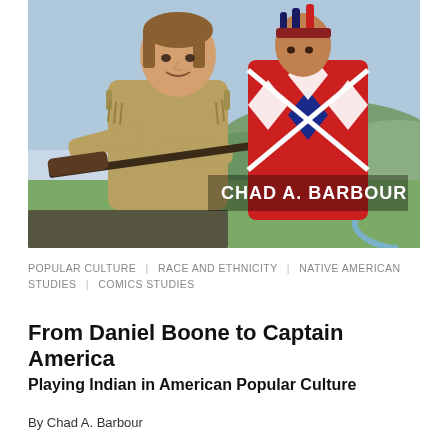[Figure (illustration): Book cover illustration showing a man in frontier/buckskin clothing holding a rifle, with a Native American figure in colorful traditional dress behind him, and a landscape with green hills and a winding river in the background. Text 'CHAD A. BARBOUR' appears in white letters in the lower right of the image.]
POPULAR CULTURE | RACE AND ETHNICITY | NATIVE AMERICAN STUDIES | COMICS STUDIES
From Daniel Boone to Captain America
Playing Indian in American Popular Culture
By Chad A. Barbour